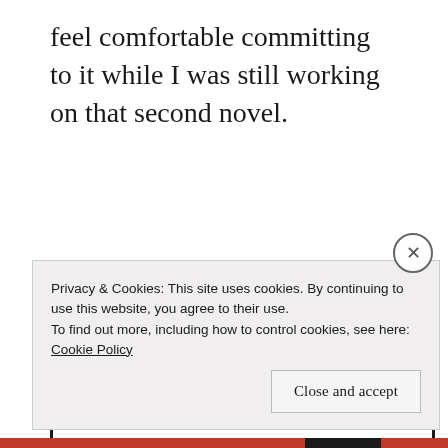feel comfortable committing to it while I was still working on that second novel.
CONTINUE READING →
Privacy & Cookies: This site uses cookies. By continuing to use this website, you agree to their use.
To find out more, including how to control cookies, see here: Cookie Policy
Close and accept